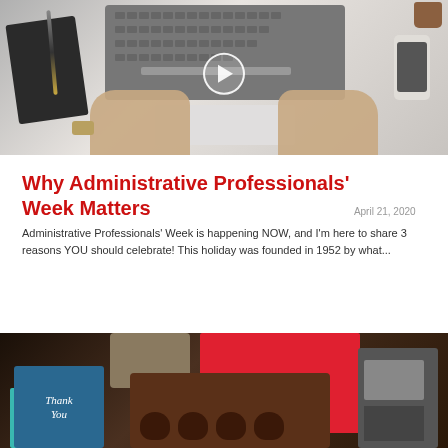[Figure (photo): Overhead view of hands typing on a laptop keyboard, with a notebook and pen on the left, a smartphone on the right, and a coffee cup in the upper right corner. A play button circle is overlaid on the center of the image.]
Why Administrative Professionals' Week Matters
April 21, 2020
Administrative Professionals' Week is happening NOW, and I'm here to share 3 reasons YOU should celebrate! This holiday was founded in 1952 by what...
[Figure (photo): A table-top view showing a Thank You card, a teal card, a red gift box with chocolate-covered strawberries, and a desk telephone in the background.]